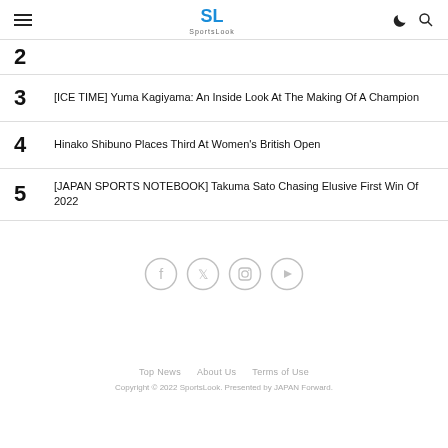SportsLook
3  [ICE TIME] Yuma Kagiyama: An Inside Look At The Making Of A Champion
4  Hinako Shibuno Places Third At Women's British Open
5  [JAPAN SPORTS NOTEBOOK] Takuma Sato Chasing Elusive First Win Of 2022
[Figure (other): Social media icons: Facebook, Twitter, Instagram, YouTube]
Top News   About Us   Terms of Use
Copyright © 2022 SportsLook. Presented by JAPAN Forward.